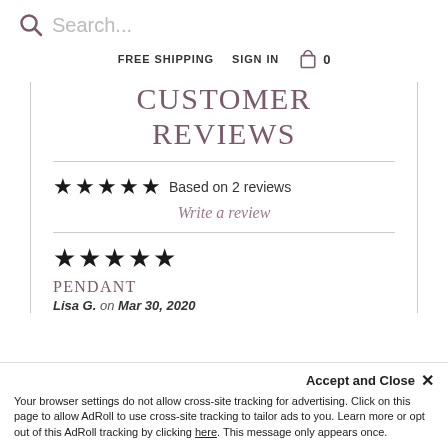Search...
FREE SHIPPING   SIGN IN   0
CUSTOMER REVIEWS
★★★★★ Based on 2 reviews
Write a review
★★★★★
PENDANT
Lisa G. on Mar 30, 2020
Accept and Close ✕
Your browser settings do not allow cross-site tracking for advertising. Click on this page to allow AdRoll to use cross-site tracking to tailor ads to you. Learn more or opt out of this AdRoll tracking by clicking here. This message only appears once.